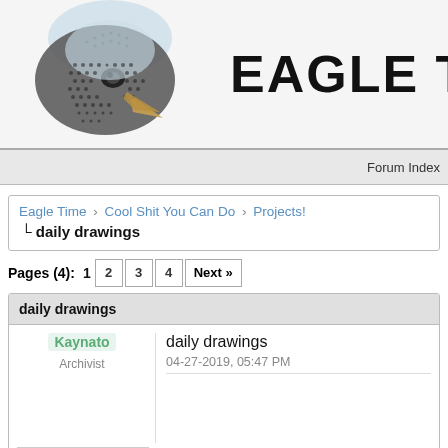[Figure (logo): Eagle Time forum logo: halftone eagle head illustration on left, bold black text 'EAGLE T' on right (cropped)]
Forum Index
Eagle Time › Cool Shit You Can Do › Projects!
└ daily drawings
Pages (4): 1  2  3  4  Next »
daily drawings
Kaynato
Archivist
daily drawings
04-27-2019, 05:47 PM
A while ago around feb 19 I had a fun ti...
After some time, it became something li...